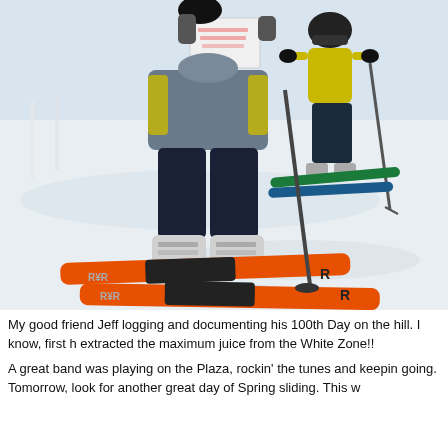[Figure (photo): Two skiers standing on a snow-covered slope. The foreground skier wears dark navy ski pants, a grey jacket, white ski boots, and bright orange skis. The background skier holds ski poles and wears a yellow jacket and helmet. The scene is bright and sunny with compacted snow.]
My good friend Jeff logging and documenting his 100th Day on the hill. I know, first h extracted the maximum juice from the White Zone!!
A great band was playing on the Plaza, rockin' the tunes and keepin going. Tomorrow, look for another great day of Spring sliding. This w